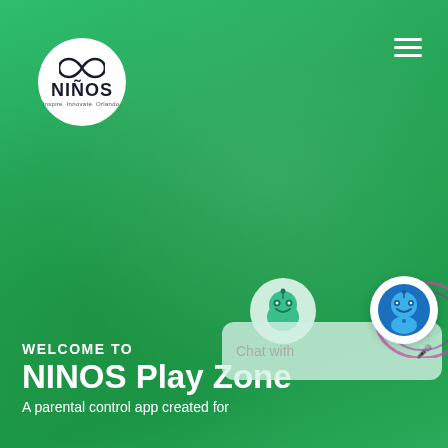[Figure (screenshot): NINOS app website screenshot showing green gradient background with NINOS logo in top left, hamburger menu top right, chat widget with mascot character in middle right, and welcome text at bottom]
WELCOME TO
NINOS Play Zone
A parental control app created for